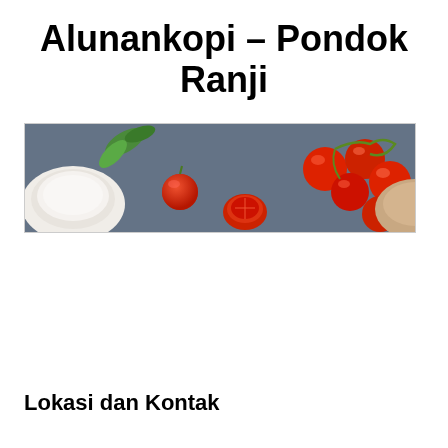Alunankopi – Pondok Ranji
[Figure (photo): Wide banner photo of food styling scene: cherry tomatoes on the vine, halved tomatoes, a bowl of white cream/sauce, and green basil leaves arranged on a dark blue/grey stone surface.]
Lokasi dan Kontak